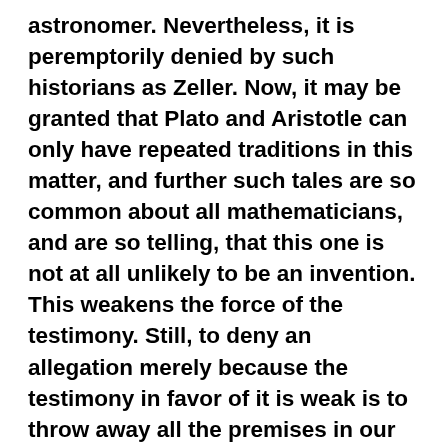astronomer. Nevertheless, it is peremptorily denied by such historians as Zeller. Now, it may be granted that Plato and Aristotle can only have repeated traditions in this matter, and further such tales are so common about all mathematicians, and are so telling, that this one is not at all unlikely to be an invention. This weakens the force of the testimony. Still, to deny an allegation merely because the testimony in favor of it is weak is to throw away all the premises in our possession and enthrone our inclinations to believe one way or another in the seat of ratiocination. Another case, more important and perhaps more favorable to the "higher criticism." Almost all we hear concerning